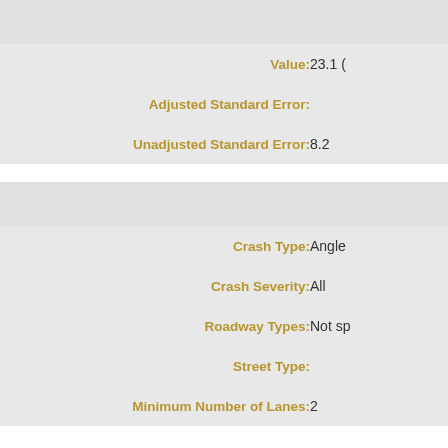| Label | Value |
| --- | --- |
|  |  |
| Value: | 23.1 ( |
| Adjusted Standard Error: |  |
| Unadjusted Standard Error: | 8.2 |
| Label | Value |
| --- | --- |
|  |  |
| Crash Type: | Angle |
| Crash Severity: | All |
| Roadway Types: | Not sp |
| Street Type: |  |
| Minimum Number of Lanes: | 2 |